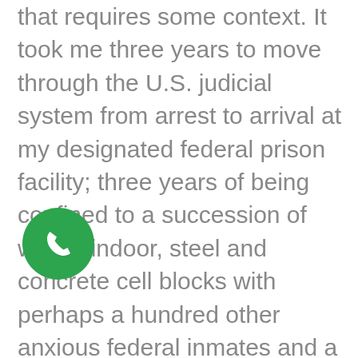that requires some context. It took me three years to move through the U.S. judicial system from arrest to arrival at my designated federal prison facility; three years of being confined to a succession of wholly indoor, steel and concrete cell blocks with perhaps a hundred other anxious federal inmates and a couple of televisions for company; three years during which there was no opportunity to do any meaningful work, or to participate in any educational or vocational courses. It's fair to say that I'm not a typical inmate. I'm a workaholic with two doctorate degrees, and an almost compulsive drive to always be doing something meaningful. Watching TV and playing cards all day really didn't cut the mustard for me. The following pages...
[Figure (other): Green circular phone/call button icon overlaid on the text]